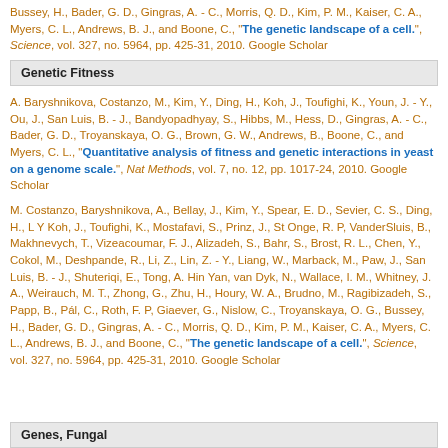Bussey, H., Bader, G. D., Gingras, A. - C., Morris, Q. D., Kim, P. M., Kaiser, C. A., Myers, C. L., Andrews, B. J., and Boone, C., "The genetic landscape of a cell.", Science, vol. 327, no. 5964, pp. 425-31, 2010. Google Scholar
Genetic Fitness
A. Baryshnikova, Costanzo, M., Kim, Y., Ding, H., Koh, J., Toufighi, K., Youn, J. - Y., Ou, J., San Luis, B. - J., Bandyopadhyay, S., Hibbs, M., Hess, D., Gingras, A. - C., Bader, G. D., Troyanskaya, O. G., Brown, G. W., Andrews, B., Boone, C., and Myers, C. L., "Quantitative analysis of fitness and genetic interactions in yeast on a genome scale.", Nat Methods, vol. 7, no. 12, pp. 1017-24, 2010. Google Scholar
M. Costanzo, Baryshnikova, A., Bellay, J., Kim, Y., Spear, E. D., Sevier, C. S., Ding, H., L Y Koh, J., Toufighi, K., Mostafavi, S., Prinz, J., St Onge, R. P, VanderSluis, B., Makhnevych, T., Vizeacoumar, F. J., Alizadeh, S., Bahr, S., Brost, R. L., Chen, Y., Cokol, M., Deshpande, R., Li, Z., Lin, Z. - Y., Liang, W., Marback, M., Paw, J., San Luis, B. - J., Shuteriqi, E., Tong, A. Hin Yan, van Dyk, N., Wallace, I. M., Whitney, J. A., Weirauch, M. T., Zhong, G., Zhu, H., Houry, W. A., Brudno, M., Ragibizadeh, S., Papp, B., Pál, C., Roth, F. P, Giaever, G., Nislow, C., Troyanskaya, O. G., Bussey, H., Bader, G. D., Gingras, A. - C., Morris, Q. D., Kim, P. M., Kaiser, C. A., Myers, C. L., Andrews, B. J., and Boone, C., "The genetic landscape of a cell.", Science, vol. 327, no. 5964, pp. 425-31, 2010. Google Scholar
Genes, Fungal